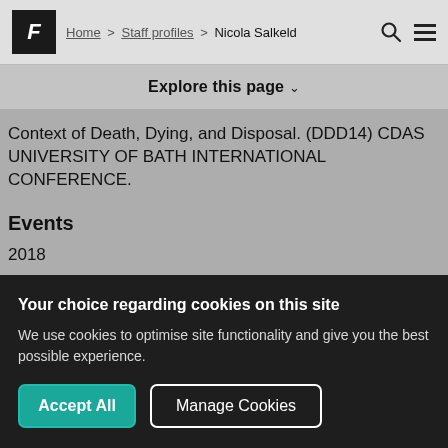F · Home > Staff profiles > Nicola Salkeld
Explore this page ∨
Context of Death, Dying, and Disposal. (DDD14) CDAS UNIVERSITY OF BATH INTERNATIONAL CONFERENCE.
Events
2018
Your choice regarding cookies on this site
We use cookies to optimise site functionality and give you the best possible experience.
Accept All   Manage Cookies